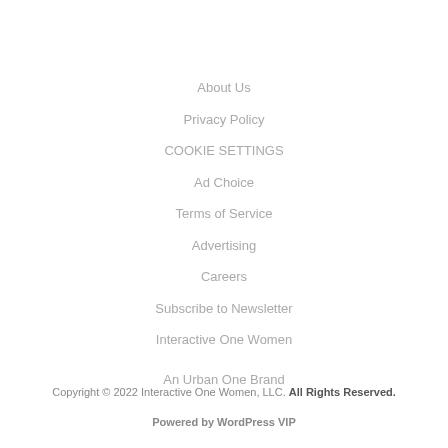About Us
Privacy Policy
COOKIE SETTINGS
Ad Choice
Terms of Service
Advertising
Careers
Subscribe to Newsletter
Interactive One Women
An Urban One Brand
Copyright © 2022 Interactive One Women, LLC. All Rights Reserved.
Powered by WordPress VIP